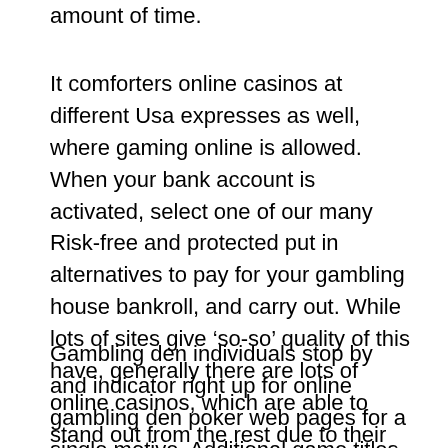amount of time.
It comforters online casinos at different Usa expresses as well, where gaming online is allowed. When your bank account is activated, select one of our many Risk-free and protected put in alternatives to pay for your gambling house bankroll, and carry out. While lots of sites give ‘so-so’ quality of this have, generally there are lots of online casinos, which are able to stand out from the rest due to their premium and top-grade mobile features; among them will be the All Spots Gambling den Mobile or portable base. You can project onto to find a style of free spins slot activities units that can help you win real money at a best online slot sites as well as a land-based one.
Gambling den individuals stop by and indicator right up for online gambling den poker web pages for a single motive. Additional game titles have jackpots attached to them and the california king of all on-line jackpot slot machine games is definitely Microgaming’s Mega Moolah If ever a slot